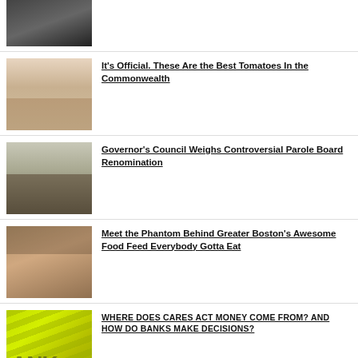[Figure (photo): Motorcycle/vehicle photo, top row (partially visible)]
[Figure (photo): Group of people posing together outdoors]
It's Official. These Are the Best Tomatoes In the Commonwealth
[Figure (photo): Person sitting at a desk or table indoors]
Governor's Council Weighs Controversial Parole Board Renomination
[Figure (photo): Restaurant/food setting interior]
Meet the Phantom Behind Greater Boston's Awesome Food Feed Everybody Gotta Eat
[Figure (photo): Bank signage with green and dark colors, letters ANK visible]
WHERE DOES CARES ACT MONEY COME FROM? AND HOW DO BANKS MAKE DECISIONS?